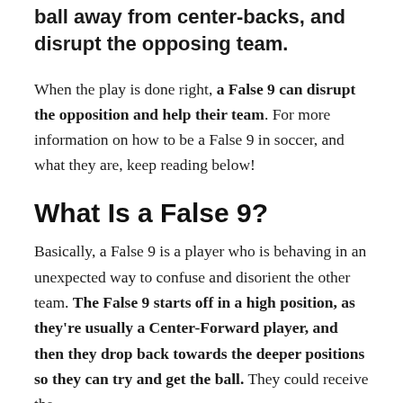ball away from center-backs, and disrupt the opposing team.
When the play is done right, a False 9 can disrupt the opposition and help their team. For more information on how to be a False 9 in soccer, and what they are, keep reading below!
What Is a False 9?
Basically, a False 9 is a player who is behaving in an unexpected way to confuse and disorient the other team. The False 9 starts off in a high position, as they're usually a Center-Forward player, and then they drop back towards the deeper positions so they can try and get the ball. They could receive the